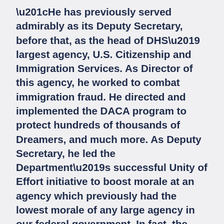“He has previously served admirably as its Deputy Secretary, before that, as the head of DHS’ largest agency, U.S. Citizenship and Immigration Services. As Director of this agency, he worked to combat immigration fraud. He directed and implemented the DACA program to protect hundreds of thousands of Dreamers, and much more. As Deputy Secretary, he led the Department’s successful Unity of Effort initiative to boost morale at an agency which previously had the lowest morale of any large agency in our federal government. In fact, the department that reported the greatest improvement in morale in the final year of the Obama administration was DHS, in large part due to Ali’s